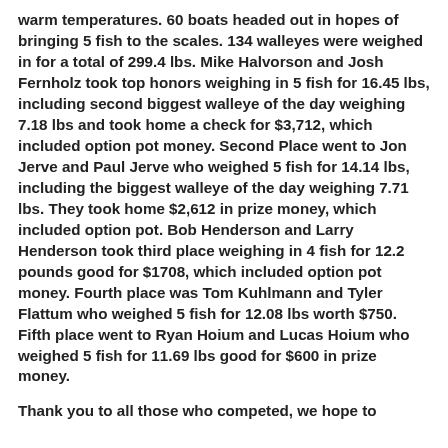warm temperatures.  60 boats headed out in hopes of bringing 5 fish to the scales.  134 walleyes were weighed in for a total of 299.4 lbs.  Mike Halvorson and Josh Fernholz took top honors weighing in 5 fish for 16.45 lbs, including second biggest walleye of the day weighing 7.18 lbs and took home a check for $3,712, which included option pot money.  Second Place went to Jon Jerve and Paul Jerve who weighed 5 fish for 14.14 lbs, including the biggest walleye of the day weighing 7.71 lbs.  They took home $2,612 in prize money, which included option pot.  Bob Henderson and Larry Henderson took third place weighing in 4 fish for 12.2 pounds good for $1708, which included option pot money.  Fourth place was Tom Kuhlmann and Tyler Flattum who weighed 5 fish for 12.08 lbs worth $750.  Fifth place went to Ryan Hoium and Lucas Hoium who weighed 5 fish for 11.69 lbs good for $600 in prize money.
Thank you to all those who competed, we hope to